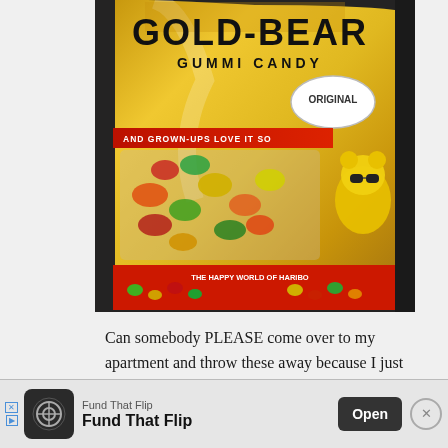[Figure (photo): A bag of Haribo Gold-Bear Gummi Candy (Original) on a dark surface. The golden bag prominently shows the brand name 'GOLD-BEAR' and 'GUMMI CANDY', with text 'AND GROWN-UPS LOVE IT SO' on a red banner, a speech bubble saying 'ORIGINAL', and bottom text 'THE HAPPY WORLD OF HARIBO'.]
Can somebody PLEASE come over to my apartment and throw these away because I just cannot get myself to and I keep eating
[Figure (screenshot): Mobile advertisement banner for 'Fund That Flip' app with an Open button and close X button.]